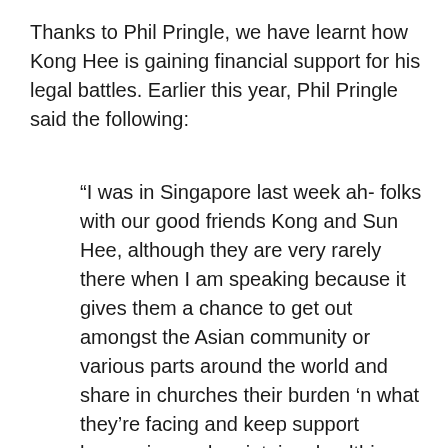Thanks to Phil Pringle, we have learnt how Kong Hee is gaining financial support for his legal battles. Earlier this year, Phil Pringle said the following:
“I was in Singapore last week ah- folks with our good friends Kong and Sun Hee, although they are very rarely there when I am speaking because it gives them a chance to get out amongst the Asian community or various parts around the world and share in churches their burden ‘n what they’re facing and keep support happening and maintain a healthier relationship and communion with the wider body. And so that’s part of the reason why I am able to go there and uh- and they’ve just had ah- one really interesting breakthrough in this last week where the Commission of Charities (that’s the organisation overseeing the Kong Hee case) have announced Sunday…